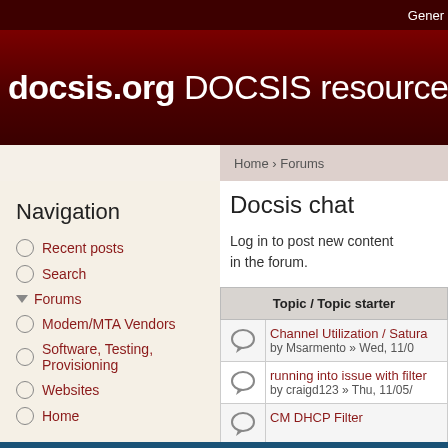Gener
docsis.org DOCSIS resource infor
Home › Forums
Navigation
Recent posts
Search
Forums
Modem/MTA Vendors
Software, Testing, Provisioning
Websites
Home
User login
Username *
Docsis chat
Log in to post new content in the forum.
| Topic / Topic starter |
| --- |
| Channel Utilization / Satura | by Msarmento » Wed, 11/0 |
| running into issue with filter | by craigd123 » Thu, 11/05/ |
| CM DHCP Filter |  |